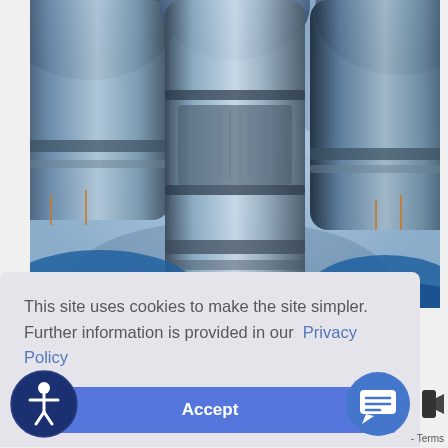[Figure (photo): Close-up photo of microscope objective lenses, metallic silver/blue tones, with blue-gloved hands visible, scientific laboratory equipment]
This site uses cookies to make the site simpler. Further information is provided in our  Privacy Policy
Accept